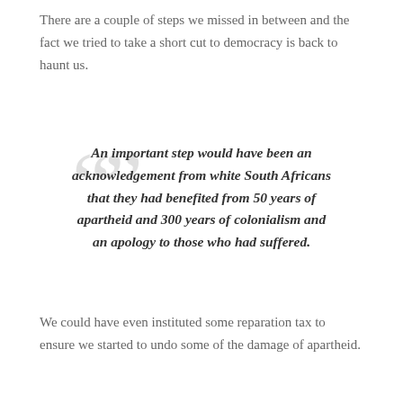There are a couple of steps we missed in between and the fact we tried to take a short cut to democracy is back to haunt us.
An important step would have been an acknowledgement from white South Africans that they had benefited from 50 years of apartheid and 300 years of colonialism and an apology to those who had suffered.
We could have even instituted some reparation tax to ensure we started to undo some of the damage of apartheid.